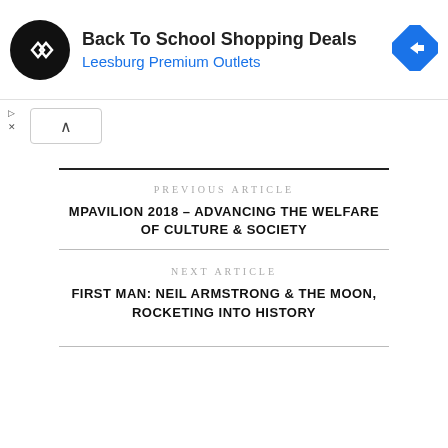[Figure (other): Advertisement banner: Back To School Shopping Deals - Leesburg Premium Outlets, with logo and navigation arrow icon]
PREVIOUS ARTICLE
MPAVILION 2018 – ADVANCING THE WELFARE OF CULTURE & SOCIETY
NEXT ARTICLE
FIRST MAN: NEIL ARMSTRONG & THE MOON, ROCKETING INTO HISTORY